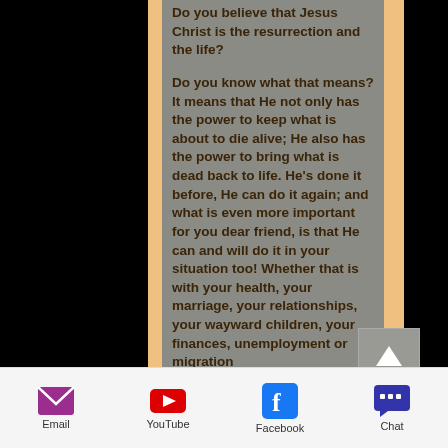Do you believe that Jesus Christ is the resurrection and the life? Do you know what that means? It means that He not only has the power to keep what is about to die alive; He also has the power to bring what is dead back to life. He's done it before, He can do it again; and what is even more important for you dear friend, is that He can and will do it in your situation too! Whether that is with your health, your marriage, your relationships, your wayward children, your finances, unemployment or migration
Email | YouTube | Facebook | Chat